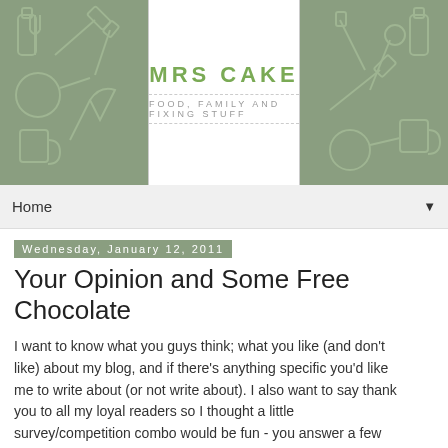[Figure (logo): Mrs Cake blog header with green side panels containing kitchen tool icons, center white panel with blog title MRS CAKE and tagline FOOD, FAMILY AND FIXING STUFF]
Home ▼
Wednesday, January 12, 2011
Your Opinion and Some Free Chocolate
I want to know what you guys think; what you like (and don't like) about my blog, and if there's anything specific you'd like me to write about (or not write about). I also want to say thank you to all my loyal readers so I thought a little survey/competition combo would be fun - you answer a few questions and I'll draw someone lucky out of a hat (or rather, out of random.org) to get some free stuff.
For the prize, I'm giving away an assortment of fabulous Chocolat Bouchard chocolates, the award winning